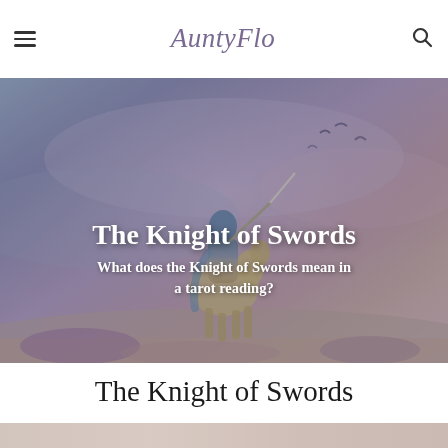AuntyFlo
[Figure (illustration): Hero banner image showing a knight on horseback with armor and sword, set against a mystical purple-blue sky with birds flying. The image has a fantasy/tarot art style with muted purples, blues, and warm earth tones.]
The Knight of Swords
What does the Knight of Swords mean in a tarot reading?
The Knight of Swords